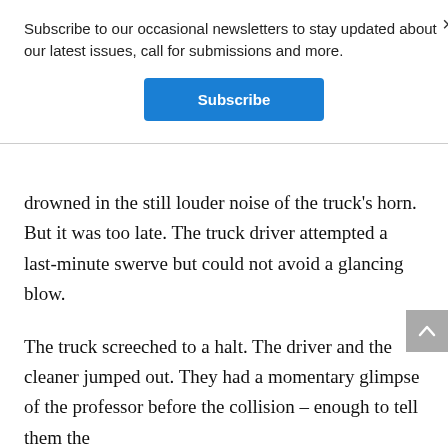Subscribe to our occasional newsletters to stay updated about our latest issues, call for submissions and more.
Subscribe
drowned in the still louder noise of the truck's horn. But it was too late. The truck driver attempted a last-minute swerve but could not avoid a glancing blow.
The truck screeched to a halt. The driver and the cleaner jumped out. They had a momentary glimpse of the professor before the collision – enough to tell them the